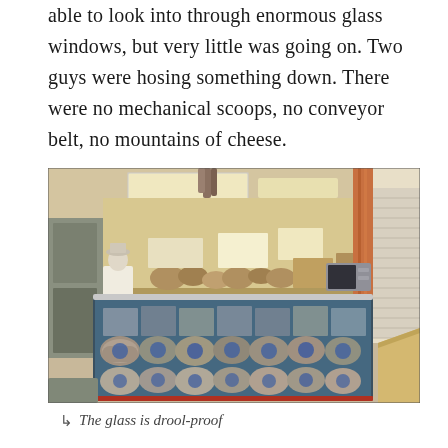able to look into through enormous glass windows, but very little was going on. Two guys were hosing something down. There were no mechanical scoops, no conveyor belt, no mountains of cheese.
[Figure (photo): Interior of a cheese shop or deli with a large glass display case filled with rounds of cheese. A person in a white shirt stands behind the counter. Above the case are various cheeses and food products on display. The shop has large windows with curtains on the right side.]
The glass is drool-proof